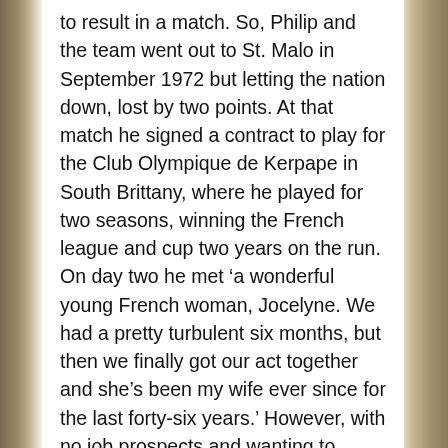to result in a match. So, Philip and the team went out to St. Malo in September 1972 but letting the nation down, lost by two points. At that match he signed a contract to play for the Club Olympique de Kerpape in South Brittany, where he played for two seasons, winning the French league and cup two years on the run. On day two he met ‘a wonderful young French woman, Jocelyne. We had a pretty turbulent six months, but then we finally got our act together and she’s been my wife ever since for the last forty-six years.’ However, with no job prospects and wanting to avoid the pathway of a geography teacher, he applied for jobs back in Britain. In 1974, he took a management position at the Coal Board. ‘I chose the Coal Board because I thought they would give me the most time off to play international wheelchair basketball.’